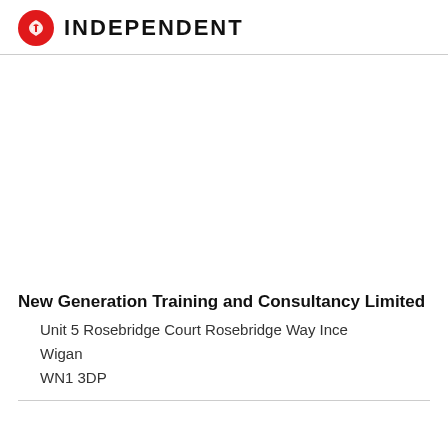INDEPENDENT
New Generation Training and Consultancy Limited
Unit 5 Rosebridge Court Rosebridge Way Ince Wigan
WN1 3DP